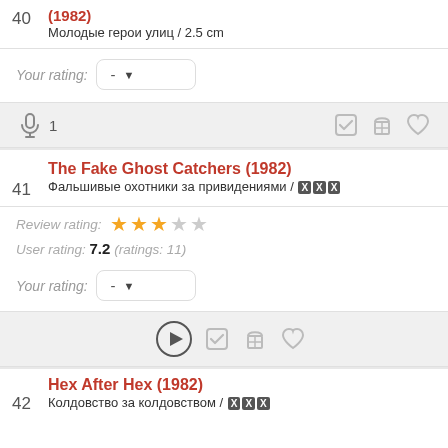40 (1982) Молодые герои улиц / 2.5 cm
Your rating: -
🎤 1
41 The Fake Ghost Catchers (1982) Фальшивые охотники за привидениями / xxx
Review rating: ★★★☆☆
User rating: 7.2 (ratings: 11)
Your rating: -
▶ action icons
42 Hex After Hex (1982) Колдовство за колдовством / xxx